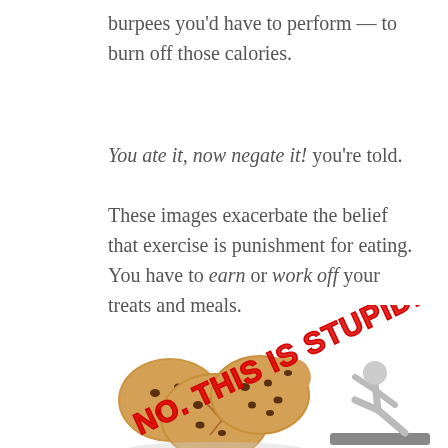burpees you'd have to perform — to burn off those calories.
You ate it, now negate it! you're told.
These images exacerbate the belief that exercise is punishment for eating. You have to earn or work off your treats and meals.
[Figure (illustration): Chocolate chip cookies next to a 3D figure exercising on a mat, overlaid with red stamp text reading 'NO. THIS IS STUPID.']